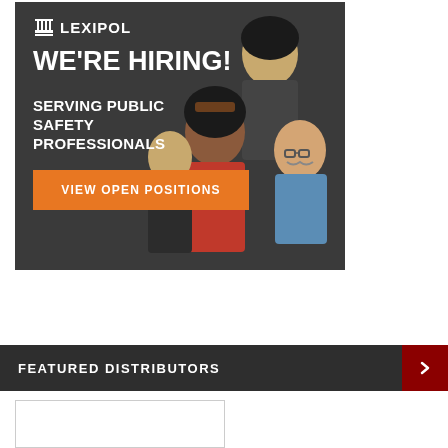[Figure (illustration): Lexipol advertisement banner. Dark gray background with illustrated diverse group of public safety professionals. White Lexipol logo with column/pillar icon at top left. Bold white text 'WE'RE HIRING!' followed by 'SERVING PUBLIC SAFETY PROFESSIONALS'. Orange rectangular button reading 'VIEW OPEN POSITIONS'.]
FEATURED DISTRIBUTORS
[Figure (other): White rectangular box representing a distributor listing card, partially visible at bottom of page.]